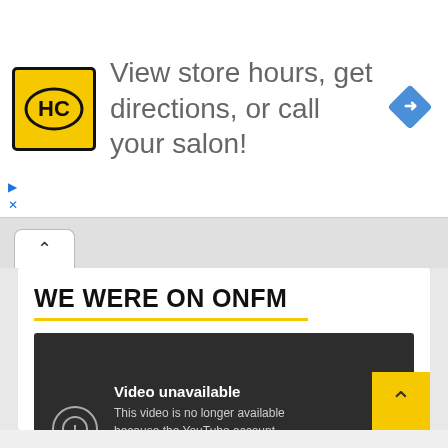[Figure (screenshot): Advertisement banner with HC salon logo, text 'View store hours, get directions, or call your salon!', and a blue navigation diamond icon]
WE WERE ON ONFM
[Figure (screenshot): Embedded YouTube video player showing 'Video unavailable' error: 'This video is no longer available because the YouTube account associated with this video has been terminated.']